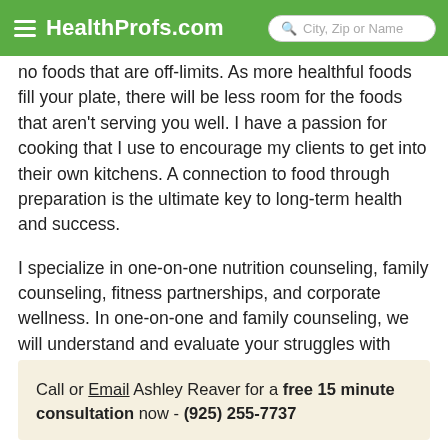HealthProfs.com  City, Zip or Name
no foods that are off-limits. As more healthful foods fill your plate, there will be less room for the foods that aren't serving you well. I have a passion for cooking that I use to encourage my clients to get into their own kitchens. A connection to food through preparation is the ultimate key to long-term health and success.
I specialize in one-on-one nutrition counseling, family counseling, fitness partnerships, and corporate wellness. In one-on-one and family counseling, we will understand and evaluate your struggles with nutrition and find opportunities for improvement. Together, we will implement strategies for sustainable change.
Call or Email Ashley Reaver for a free 15 minute consultation now - (925) 255-7737